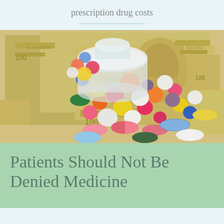prescription drug costs
[Figure (photo): A glass pill bottle tipped over spilling colorful assorted pills and capsules onto a pile of US dollar bills (100 dollar bills), illustrating the high cost of prescription drugs.]
Patients Should Not Be Denied Medicine